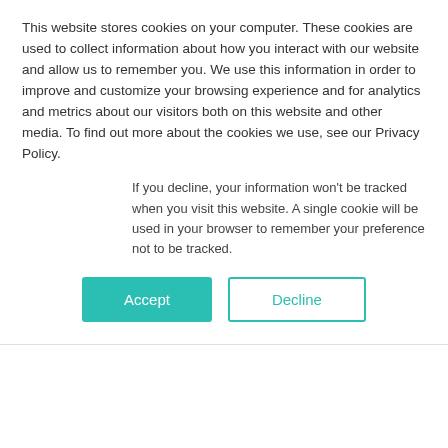This website stores cookies on your computer. These cookies are used to collect information about how you interact with our website and allow us to remember you. We use this information in order to improve and customize your browsing experience and for analytics and metrics about our visitors both on this website and other media. To find out more about the cookies we use, see our Privacy Policy.
If you decline, your information won't be tracked when you visit this website. A single cookie will be used in your browser to remember your preference not to be tracked.
[Figure (other): Two buttons: Accept (teal/green filled) and Decline (white with teal border)]
management
Performance